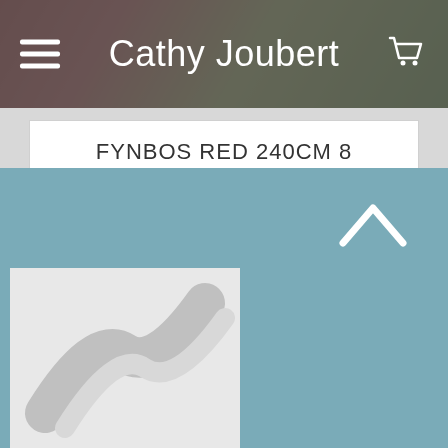Cathy Joubert
FYNBOS RED 240CM 8 SEATER
R1,250.00
[Figure (logo): Logo placeholder image with grey diagonal swoosh design on white background]
[Figure (other): Upward chevron/caret arrow icon in white on blue background]